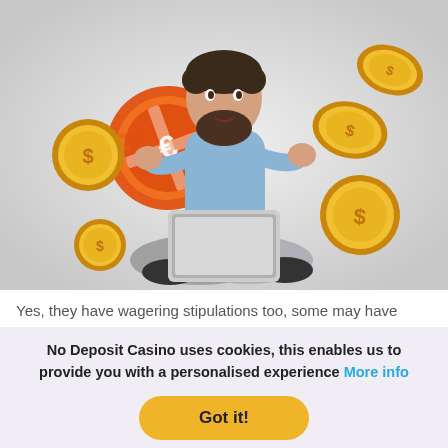[Figure (illustration): A bearded man in a light blue shirt sits cross-legged on the floor with a laptop, pointing at a large orange casino chip. Around him are floating gold dollar coins and the image has a light grey background.]
Yes, they have wagering stipulations too, some may have
No Deposit Casino uses cookies, this enables us to provide you with a personalised experience More info
Got it!